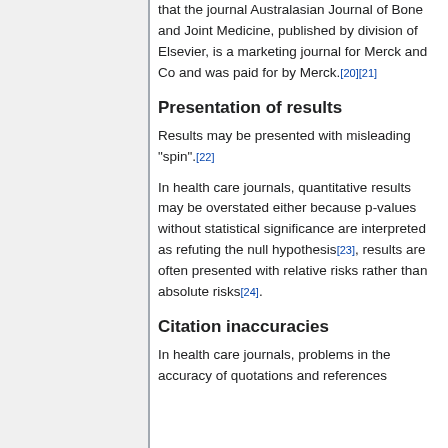that the journal Australasian Journal of Bone and Joint Medicine, published by division of Elsevier, is a marketing journal for Merck and Co and was paid for by Merck.[20][21]
Presentation of results
Results may be presented with misleading "spin".[22]
In health care journals, quantitative results may be overstated either because p-values without statistical significance are interpreted as refuting the null hypothesis[23], results are often presented with relative risks rather than absolute risks[24].
Citation inaccuracies
In health care journals, problems in the accuracy of quotations and references